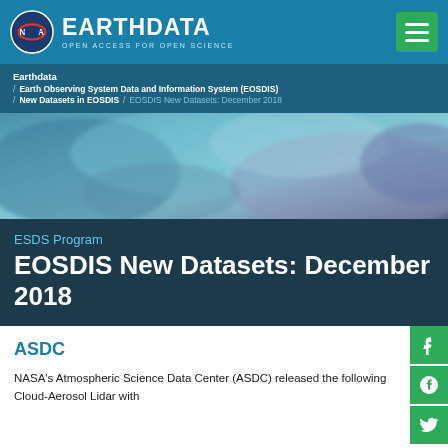NASA EARTHDATA — OPEN ACCESS FOR OPEN SCIENCE
Earthdata / Earth Observing System Data and Information System (EOSDIS) / New Datasets in EOSDIS / EOSDIS New Datasets: December 2018
[Figure (photo): Satellite imagery showing Earth surface with blue-teal tones, clouds, and terrain — used as hero banner image]
ESDS Program
EOSDIS New Datasets: December 2018
ASDC
NASA's Atmospheric Science Data Center (ASDC) released the following Cloud-Aerosol Lidar with